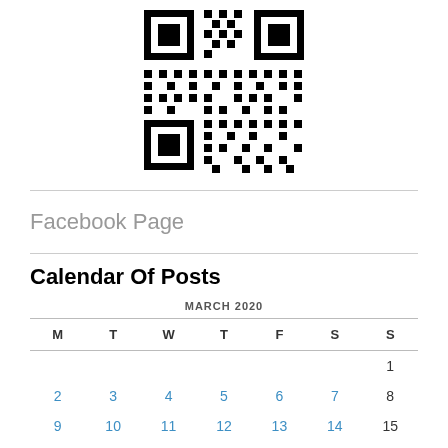[Figure (other): QR code image centered at top of page]
Facebook Page
Calendar Of Posts
| M | T | W | T | F | S | S |
| --- | --- | --- | --- | --- | --- | --- |
|  |  |  |  |  |  | 1 |
| 2 | 3 | 4 | 5 | 6 | 7 | 8 |
| 9 | 10 | 11 | 12 | 13 | 14 | 15 |
| 16 | 17 | 18 | 19 | 20 | 21 | 22 |